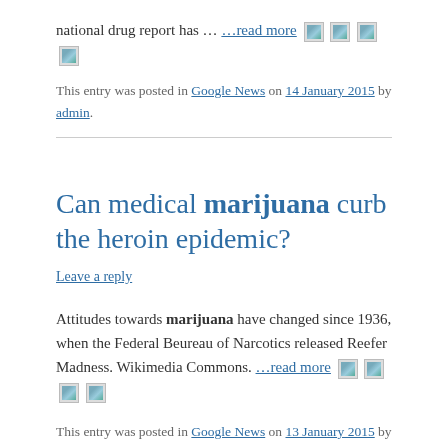national drug report has … …read more [icons]
This entry was posted in Google News on 14 January 2015 by admin.
Can medical marijuana curb the heroin epidemic?
Leave a reply
Attitudes towards marijuana have changed since 1936, when the Federal Beureau of Narcotics released Reefer Madness. Wikimedia Commons. …read more [icons]
This entry was posted in Google News on 13 January 2015 by admin.